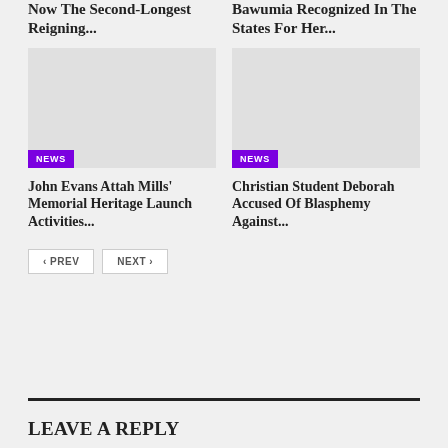Now The Second-Longest Reigning...
Bawumia Recognized In The States For Her...
[Figure (photo): Placeholder image for news article on left]
[Figure (photo): Placeholder image for news article on right]
John Evans Attah Mills' Memorial Heritage Launch Activities...
Christian Student Deborah Accused Of Blasphemy Against...
PREV  NEXT
LEAVE A REPLY